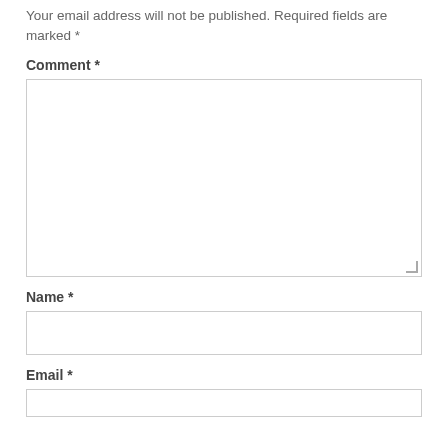Your email address will not be published. Required fields are marked *
Comment *
[Figure (other): Large empty textarea input box for comment entry with resize handle at bottom-right]
Name *
[Figure (other): Single-line text input box for name entry]
Email *
[Figure (other): Partial single-line text input box for email entry (cut off at bottom of page)]